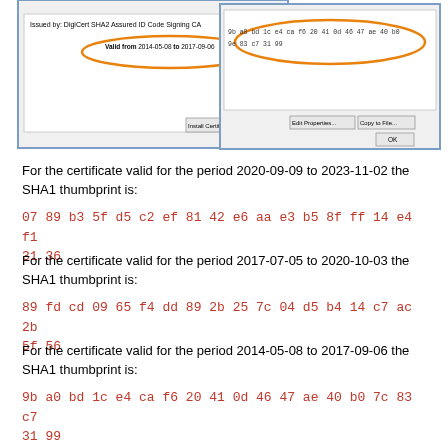[Figure (screenshot): Two overlapping Windows certificate dialog screenshots. Left dialog shows 'Issued by: DigiCert SHA2 Assured ID Code Signing CA' and has an orange oval highlight around 'Valid from 2014-05-08 to 2017-09-06'. Right dialog shows a certificate thumbprint hex string with an orange oval highlight around '9b a0 bd 1c e4 ca f6 20 41 0d 46 47 ae 40 b0 7c 83 c7 31 99'. Buttons visible: Install Certificate, Issuer Sta, Edit Properties, Copy to File, OK.]
For the certificate valid for the period 2020-09-09 to 2023-11-02 the SHA1 thumbprint is:
07 89 b3 5f d5 c2 ef 81 42 e6 aa e3 b5 8f ff 14 e4 f1 31 36
For the certificate valid for the period 2017-07-05 to 2020-10-03 the SHA1 thumbprint is:
89 fd cd 09 65 f4 dd 89 2b 25 7c 04 d5 b4 14 c7 ac 2b 5f 56
For the certificate valid for the period 2014-05-08 to 2017-09-06 the SHA1 thumbprint is:
9b a0 bd 1c e4 ca f6 20 41 0d 46 47 ae 40 b0 7c 83 c7 31 99